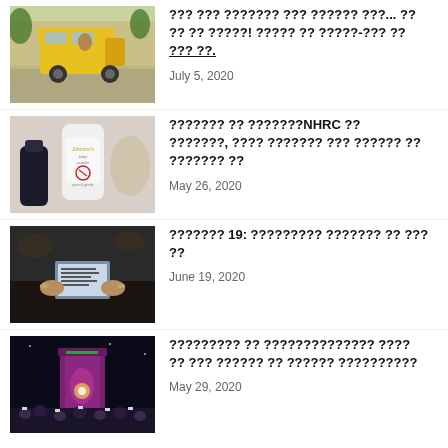[Figure (photo): Auto-rickshaw on a street, Delhi traffic scene]
[Hindi text title] July 5, 2020
[Figure (photo): Johnson's Baby Powder bottle with a dark bottle beside it]
[Hindi text title mentioning NHRC] May 26, 2020
[Figure (photo): Hands holding a phone showing text, dark background]
[Hindi text] 19: [Hindi text] June 19, 2020
[Figure (photo): Crowd at night rally with lights and phones raised]
[Hindi text question] May 29, 2020